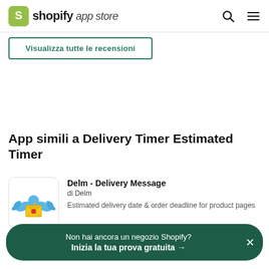shopify app store
Visualizza tutte le recensioni
App simili a Delivery Timer Estimated Timer
Delm - Delivery Message
di Delm
Estimated delivery date & order deadline for product pages
Non hai ancora un negozio Shopify?
Inizia la tua prova gratuita →